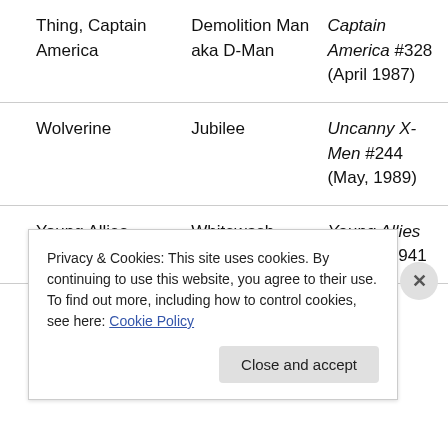| Thing, Captain America | Demolition Man aka D-Man | Captain America #328 (April 1987) |
| Wolverine | Jubilee | Uncanny X-Men #244 (May, 1989) |
| Young Allies | Whitewash Jones | Young Allies Comics 1941 |
Privacy & Cookies: This site uses cookies. By continuing to use this website, you agree to their use.
To find out more, including how to control cookies, see here: Cookie Policy
Close and accept